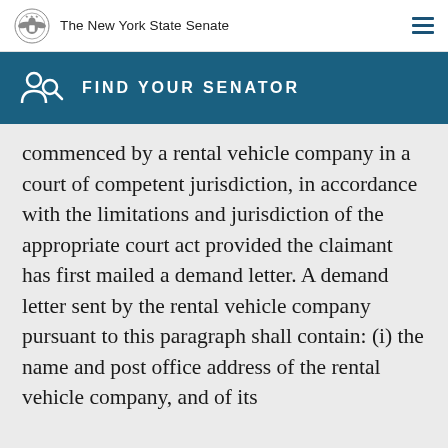The New York State Senate
FIND YOUR SENATOR
commenced by a rental vehicle company in a court of competent jurisdiction, in accordance with the limitations and jurisdiction of the appropriate court act provided the claimant has first mailed a demand letter. A demand letter sent by the rental vehicle company pursuant to this paragraph shall contain: (i) the name and post office address of the rental vehicle company, and of its